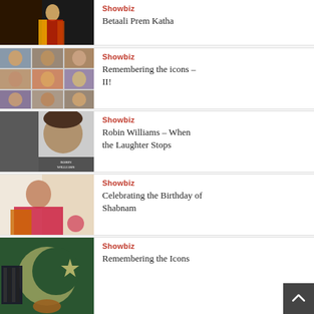[Figure (photo): Partially visible image of a woman in traditional colorful costume against dark background]
Showbiz
Betaali Prem Katha
[Figure (photo): Collage of multiple celebrity portraits in a grid]
Showbiz
Remembering the icons – II!
[Figure (photo): Black and white photo of Robin Williams with name text overlay]
Showbiz
Robin Williams – When the Laughter Stops
[Figure (photo): Woman in colorful traditional dress smiling]
Showbiz
Celebrating the Birthday of Shabnam
[Figure (photo): Musical instruments (accordion, violin) against Pakistan flag backdrop]
Showbiz
Remembering the Icons